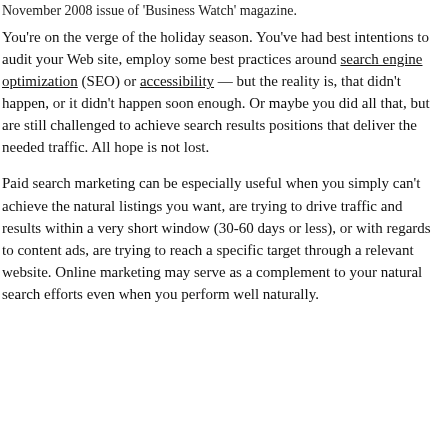November 2008 issue of 'Business Watch' magazine.
You're on the verge of the holiday season. You've had best intentions to audit your Web site, employ some best practices around search engine optimization (SEO) or accessibility — but the reality is, that didn't happen, or it didn't happen soon enough. Or maybe you did all that, but are still challenged to achieve search results positions that deliver the needed traffic. All hope is not lost.
Paid search marketing can be especially useful when you simply can't achieve the natural listings you want, are trying to drive traffic and results within a very short window (30-60 days or less), or with regards to content ads, are trying to reach a specific target through a relevant website. Online marketing may serve as a complement to your natural search efforts even when you perform well naturally.